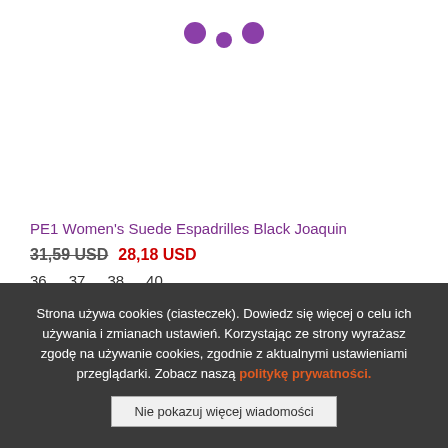[Figure (other): Loading spinner with three purple dots]
PE1 Women's Suede Espadrilles Black Joaquin
31,59 USD 28,18 USD
36  37  38  40
Strona używa cookies (ciasteczek). Dowiedz się więcej o celu ich używania i zmianach ustawień. Korzystając ze strony wyrażasz zgodę na używanie cookies, zgodnie z aktualnymi ustawieniami przeglądarki. Zobacz naszą politykę prywatności.
Nie pokazuj więcej wiadomości